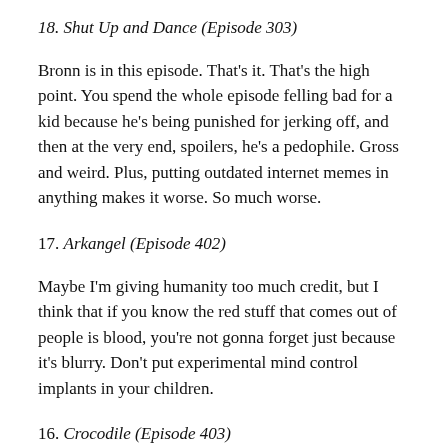18. Shut Up and Dance (Episode 303)
Bronn is in this episode. That's it. That's the high point. You spend the whole episode felling bad for a kid because he's being punished for jerking off, and then at the very end, spoilers, he's a pedophile. Gross and weird. Plus, putting outdated internet memes in anything makes it worse. So much worse.
17. Arkangel (Episode 402)
Maybe I'm giving humanity too much credit, but I think that if you know the red stuff that comes out of people is blood, you're not gonna forget just because it's blurry. Don't put experimental mind control implants in your children.
16. Crocodile (Episode 403)